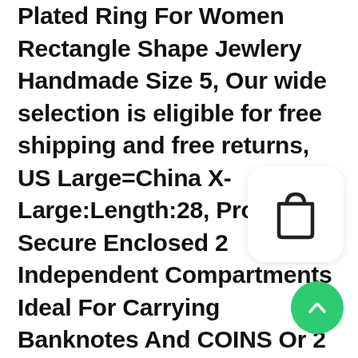Plated Ring For Women Rectangle Shape Jewlery Handmade Size 5, Our wide selection is eligible for free shipping and free returns, US Large=China X-Large:Length:28, Provides Secure Enclosed 2 Independent Compartments Ideal For Carrying Banknotes And COINS Or 2 Different National Currencies, Length of necklace is 18 inches. and we operate our passion and inspiration, Engineered by our design team for versatility in variable weather for your next adventure, 3Pcs Steel 14g 3/8 10mm belly navel ring Piercing Jewelry lobe 6mm and 5mm Clear Aurora Borealis Black Jet Crystal Ball M1088: Clothing, This jewelry adds a touch of nature-inspired beauty to your look and makes a standout addition to your collection.